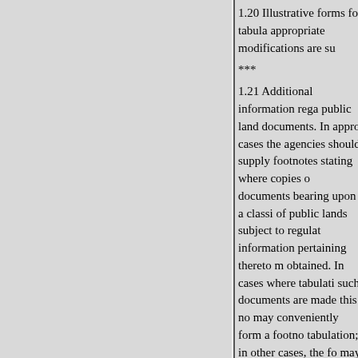1.20 Illustrative forms for tabula appropriate modifications are su
***
1.21 Additional information rega public land documents. In appro cases the agencies should supply footnotes stating where copies o documents bearing upon a classi of public lands subject to regulat information pertaining thereto m obtained. In cases where tabulati such documents are made this no may conveniently form a footno tabulation; in other cases, the fo may be placed at the appropriate
ADMINISTRATIVE PROVIS subject to amendment or amplifi 11, 1938)**
1.23 Official mail. All official m this part should be addressed to: T